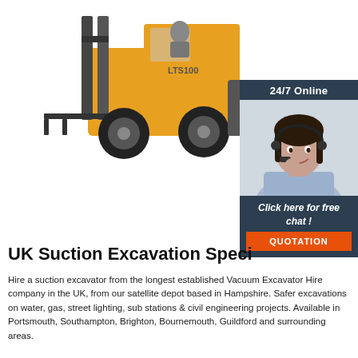[Figure (photo): Yellow LTS100 forklift truck on white background]
[Figure (infographic): 24/7 Online chat widget with female customer service agent wearing headset, 'Click here for free chat!' text, and orange QUOTATION button]
UK Suction Excavation Speci
Hire a suction excavator from the longest established Vacuum Excavator Hire company in the UK, from our satellite depot based in Hampshire. Safer excavations on water, gas, street lighting, sub stations & civil engineering projects. Available in Portsmouth, Southampton, Brighton, Bournemouth, Guildford and surrounding areas.